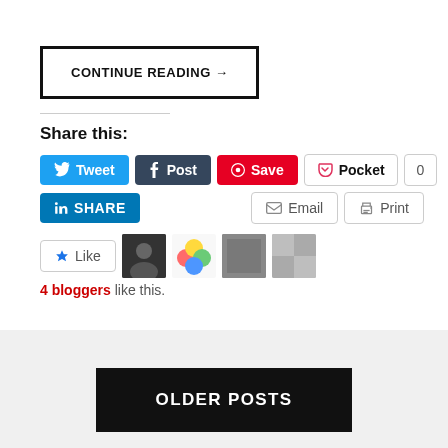CONTINUE READING →
Share this:
Tweet Post Save Pocket 0
SHARE Email Print
Like | 4 bloggers like this.
OLDER POSTS